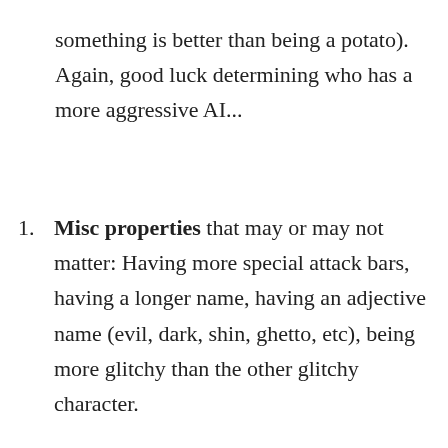something is better than being a potato). Again, good luck determining who has a more aggressive AI...
Misc properties that may or may not matter: Having more special attack bars, having a longer name, having an adjective name (evil, dark, shin, ghetto, etc), being more glitchy than the other glitchy character.